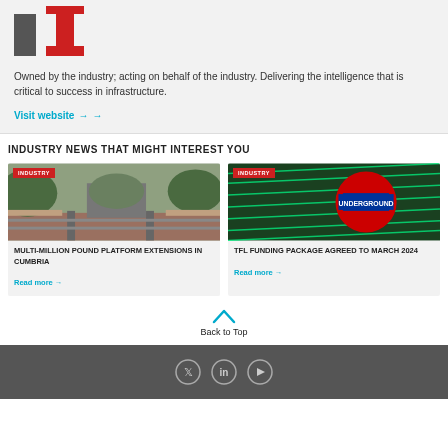[Figure (logo): Stylized logo with grey rectangle and red pillar/I-beam shape]
Owned by the industry; acting on behalf of the industry. Delivering the intelligence that is critical to success in infrastructure.
Visit website →
INDUSTRY NEWS THAT MIGHT INTEREST YOU
[Figure (photo): Photo of a railway station platform with an arch bridge in background, INDUSTRY badge overlay]
MULTI-MILLION POUND PLATFORM EXTENSIONS IN CUMBRIA
Read more →
[Figure (photo): Photo of London Underground sign with green neon lights, INDUSTRY badge overlay]
TFL FUNDING PACKAGE AGREED TO MARCH 2024
Read more →
Back to Top
Social media icons: Twitter, LinkedIn, YouTube